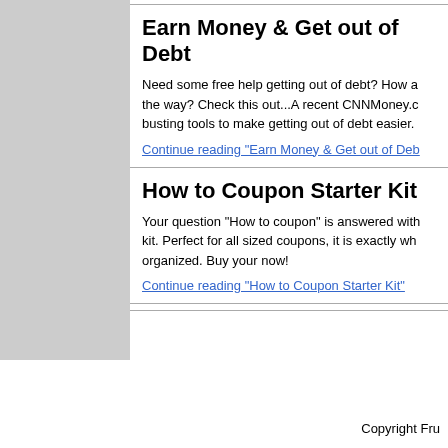Earn Money & Get out of Debt
Need some free help getting out of debt? How a the way? Check this out...A recent CNNMoney.c busting tools to make getting out of debt easier.
Continue reading "Earn Money & Get out of Deb
How to Coupon Starter Kit
Your question "How to coupon" is answered with kit. Perfect for all sized coupons, it is exactly wh organized. Buy your now!
Continue reading "How to Coupon Starter Kit"
Copyright Fru